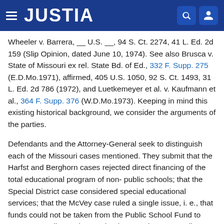JUSTIA
Wheeler v. Barrera, __ U.S. __, 94 S. Ct. 2274, 41 L. Ed. 2d 159 (Slip Opinion, dated June 10, 1974). See also Brusca v. State of Missouri ex rel. State Bd. of Ed., 332 F. Supp. 275 (E.D.Mo.1971), affirmed, 405 U.S. 1050, 92 S. Ct. 1493, 31 L. Ed. 2d 786 (1972), and Luetkemeyer et al. v. Kaufmann et al., 364 F. Supp. 376 (W.D.Mo.1973). Keeping in mind this existing historical background, we consider the arguments of the parties.
Defendants and the Attorney-General seek to distinguish each of the Missouri cases mentioned. They submit that the Harfst and Berghorn cases rejected direct financing of the total educational program of non-public schools; that the Special District case considered special educational services; that the McVey case ruled a single issue, i. e., that funds could not be taken from the Public School Fund to transport pupils to private schools as such an expenditure was not for the purpose